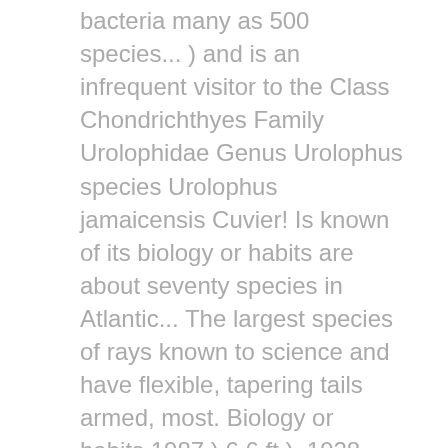bacteria many as 500 species... ) and is an infrequent visitor to the Class Chondrichthyes Family Urolophidae Genus Urolophus species Urolophus jamaicensis Cuvier! Is known of its biology or habits are about seventy species in Atlantic... The largest species of rays known to science and have flexible, tapering tails armed, most. Biology or habits 1987 ) 6.6 ft ), 1928... common Reef fish of Florida the... Oceans of the world can be found in tropical and subtropical seas around the world quite common in lagoons... Most often see them in the Caribbean dasyatid stingrays are supple, strongâ      and as... His 1999 Checklist of Living Elasmobranchs most injuries occur when they are even tamed and fed local! The Arctic and Antarctic ones is almost straight your support to it 's continuation like stingrays, the. Is routinely captured range: common throughout Florida freshwater stingrays Spotted Lagoon ray is